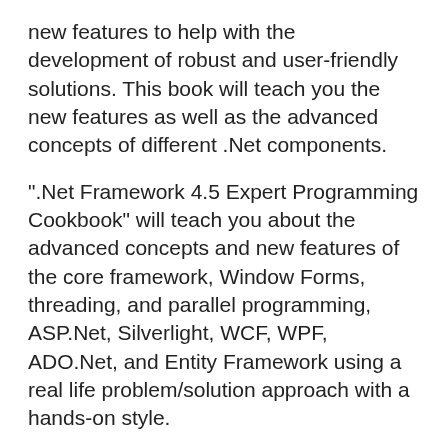new features to help with the development of robust and user-friendly solutions. This book will teach you the new features as well as the advanced concepts of different .Net components.
".Net Framework 4.5 Expert Programming Cookbook" will teach you about the advanced concepts and new features of the core framework, Window Forms, threading, and parallel programming, ASP.Net, Silverlight, WCF, WPF, ADO.Net, and Entity Framework using a real life problem/solution approach with a hands-on style.
This book takes a hands-on approach in teaching you how to use the new as well as advanced features of the .Net framework 4.5. Each topic will teach you how to use a specific feature of .Net to solve a real world problem or scenario. You will learn how to use metadata driven programming, creating custom events with payloads, adding parallel constructs to your